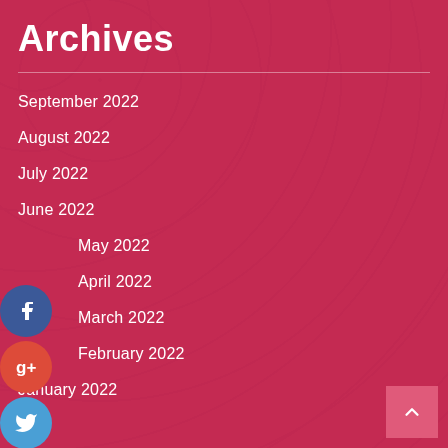Archives
September 2022
August 2022
July 2022
June 2022
May 2022
April 2022
March 2022
February 2022
January 2022